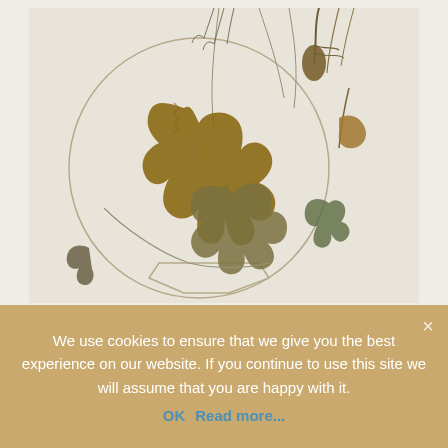[Figure (photo): A close-up photograph of dried/pressed herbarium plant specimens including large brown oak-like leaves, thin wire or stem structures forming a circular frame, and dried floral material with seed heads, on a light background.]
We use cookies to ensure that we give you the best experience on our website. If you continue to use this site we will assume that you are happy with it.
OK  Read more...